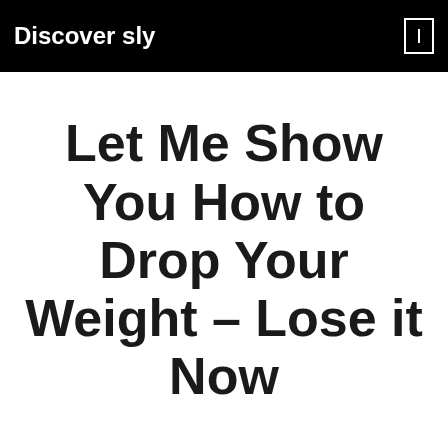Discover sly
Let Me Show You How to Drop Your Weight – Lose it Now